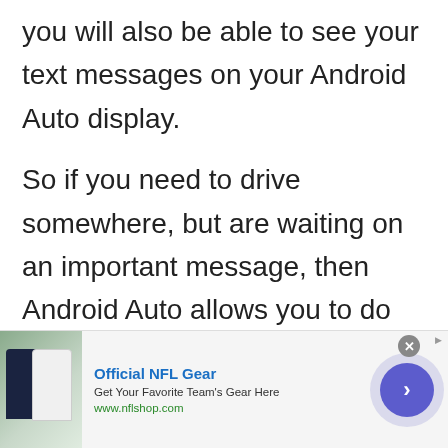you will also be able to see your text messages on your Android Auto display.
So if you need to drive somewhere, but are waiting on an important message, then Android Auto allows you to do both at the same time.
With this service, you never have to worry about being away from your phone, and for a lot of people this service lets for one of
[Figure (other): Advertisement banner for Official NFL Gear featuring NFL jerseys image, text 'Official NFL Gear', 'Get Your Favorite Team's Gear Here', 'www.nflshop.com', a close button, and a forward arrow button.]